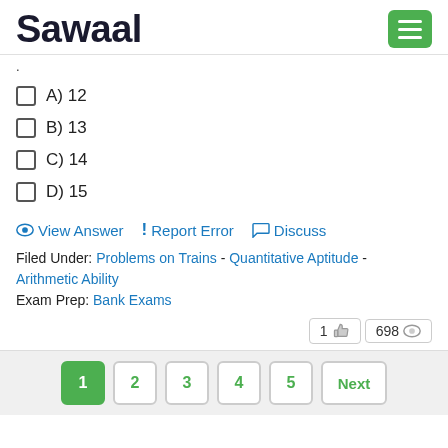Sawaal
.
A) 12
B) 13
C) 14
D) 15
View Answer   Report Error   Discuss
Filed Under: Problems on Trains - Quantitative Aptitude - Arithmetic Ability
Exam Prep: Bank Exams
1 👍  698 👁
1  2  3  4  5  Next